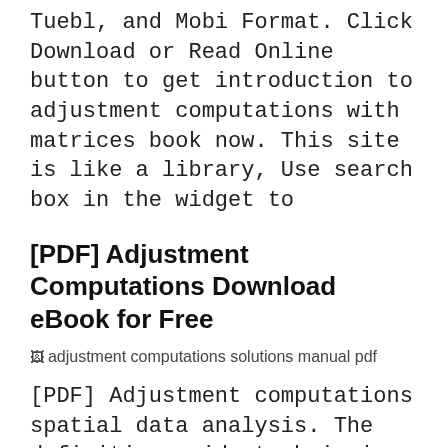Tuebl, and Mobi Format. Click Download or Read Online button to get introduction to adjustment computations with matrices book now. This site is like a library, Use search box in the widget to
[PDF] Adjustment Computations Download eBook for Free
[Figure (illustration): Broken image placeholder with alt text: adjustment computations solutions manual pdf]
[PDF] Adjustment computations spatial data analysis. The definitive guide to bringing accuracy to measurement, updated and supplementedAdjustment